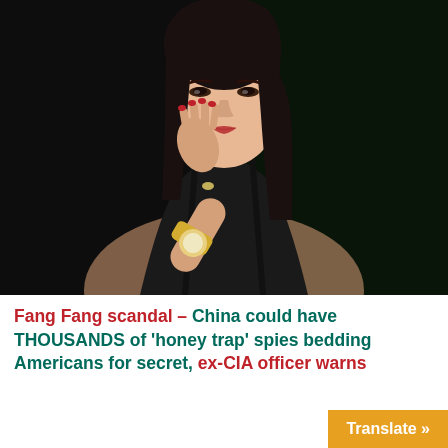[Figure (photo): A young Asian woman in a black dress, posing with her hands near her face, wearing a gold watch and rings with red nails, dark background.]
Fang Fang scandal – China could have THOUSANDS of 'honey trap' spies bedding Americans for secret, ex-CIA officer warns